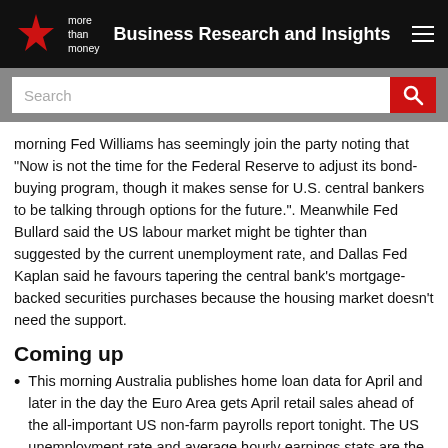Business Research and Insights
morning Fed Williams has seemingly join the party noting that “Now is not the time for the Federal Reserve to adjust its bond-buying program, though it makes sense for U.S. central bankers to be talking through options for the future.”. Meanwhile Fed Bullard said the US labour market might be tighter than suggested by the current unemployment rate, and Dallas Fed Kaplan said he favours tapering the central bank’s mortgage-backed securities purchases because the housing market doesn’t need the support.
Coming up
This morning Australia publishes home loan data for April and later in the day the Euro Area gets April retail sales ahead of the all-important US non-farm payrolls report tonight. The US unemployment rate and average hourly earnings stats are the other focus today, but forward Compat shared capital...